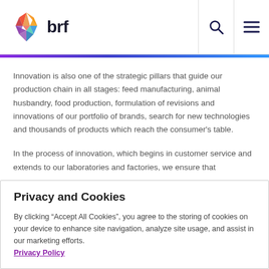brf
Innovation is also one of the strategic pillars that guide our production chain in all stages: feed manufacturing, animal husbandry, food production, formulation of revisions and innovations of our portfolio of brands, search for new technologies and thousands of products which reach the consumer's table.
In the process of innovation, which begins in customer service and extends to our laboratories and factories, we ensure that
Privacy and Cookies
By clicking “Accept All Cookies”, you agree to the storing of cookies on your device to enhance site navigation, analyze site usage, and assist in our marketing efforts. Privacy Policy